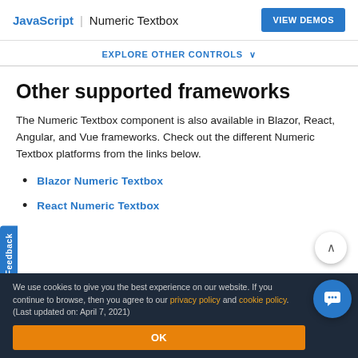JavaScript | Numeric Textbox  VIEW DEMOS
EXPLORE OTHER CONTROLS
Other supported frameworks
The Numeric Textbox component is also available in Blazor, React, Angular, and Vue frameworks. Check out the different Numeric Textbox platforms from the links below.
Blazor Numeric Textbox
React Numeric Textbox
We use cookies to give you the best experience on our website. If you continue to browse, then you agree to our privacy policy and cookie policy. (Last updated on: April 7, 2021)
OK